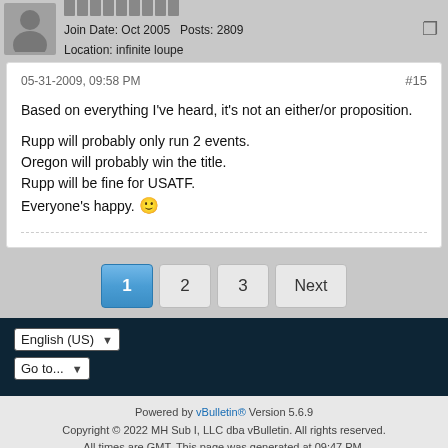Join Date: Oct 2005   Posts: 2809
Location: infinite loupe
05-31-2009, 09:58 PM   #15
Based on everything I've heard, it's not an either/or proposition.

Rupp will probably only run 2 events.
Oregon will probably win the title.
Rupp will be fine for USATF.
Everyone's happy. 🙂
1  2  3  Next
English (US)
Go to...
Powered by vBulletin® Version 5.6.9
Copyright © 2022 MH Sub I, LLC dba vBulletin. All rights reserved.
All times are GMT. This page was generated at 09:47 PM.